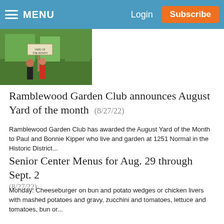MENU | Login | Subscribe
[Figure (photo): Outdoor photo showing people standing near a yard sign in a garden setting]
Ramblewood Garden Club announces August Yard of the month (8/27/22)
Ramblewood Garden Club has awarded the August Yard of the Month to Paul and Bonnie Kipper who live and garden at 1251 Normal in the Historic District...
Senior Center Menus for Aug. 29 through Sept. 2
(8/27/22)
Monday: Cheeseburger on bun and potato wedges or chicken livers with mashed potatoes and gravy, zucchini and tomatoes, lettuce and tomatoes, bun or...
FYI 8-28-22 (8/27/22)
A bluegrass gospel concert featuring Janie Brown and the Chestnut Mountain Gang will be held from 6 to 7 p.m. Aug. 28 at Fellowship Baptist Church in...